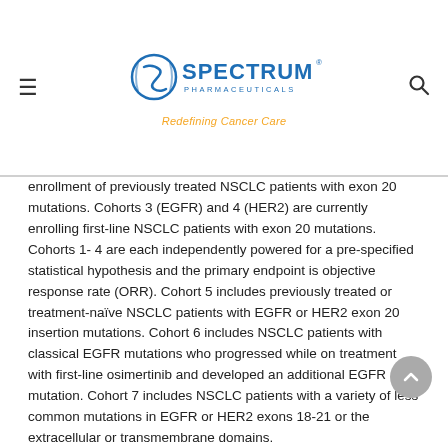Spectrum Pharmaceuticals — Redefining Cancer Care
enrollment of previously treated NSCLC patients with exon 20 mutations. Cohorts 3 (EGFR) and 4 (HER2) are currently enrolling first-line NSCLC patients with exon 20 mutations. Cohorts 1- 4 are each independently powered for a pre-specified statistical hypothesis and the primary endpoint is objective response rate (ORR). Cohort 5 includes previously treated or treatment-naïve NSCLC patients with EGFR or HER2 exon 20 insertion mutations. Cohort 6 includes NSCLC patients with classical EGFR mutations who progressed while on treatment with first-line osimertinib and developed an additional EGFR mutation. Cohort 7 includes NSCLC patients with a variety of less common mutations in EGFR or HER2 exons 18-21 or the extracellular or transmembrane domains.
Notice Regarding Forward-looking statements
Certain statements in this press release may constitute